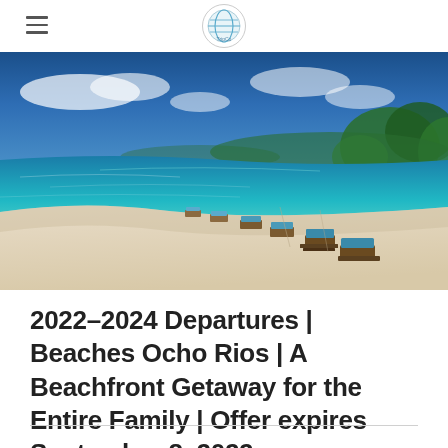TripCo
[Figure (photo): Aerial view of a tropical beach with white sand, turquoise water, beach loungers arranged along the shoreline, and green trees in the background under a blue sky.]
2022-2024 Departures | Beaches Ocho Rios | A Beachfront Getaway for the Entire Family | Offer expires September 8, 2022
...